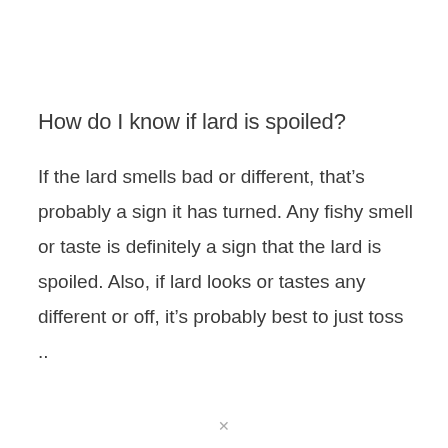How do I know if lard is spoiled?
If the lard smells bad or different, that’s probably a sign it has turned. Any fishy smell or taste is definitely a sign that the lard is spoiled. Also, if lard looks or tastes any different or off, it’s probably best to just toss ..